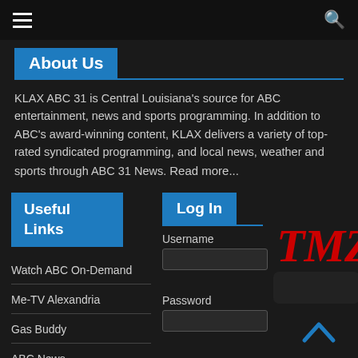Navigation bar with hamburger menu and search icon
About Us
KLAX ABC 31 is Central Louisiana's source for ABC entertainment, news and sports programming. In addition to ABC's award-winning content, KLAX delivers a variety of top-rated syndicated programming, and local news, weather and sports through ABC 31 News. Read more...
Useful Links
Watch ABC On-Demand
Me-TV Alexandria
Gas Buddy
ABC News
Log In
Username
Password
[Figure (logo): TMZ logo in red italic serif font]